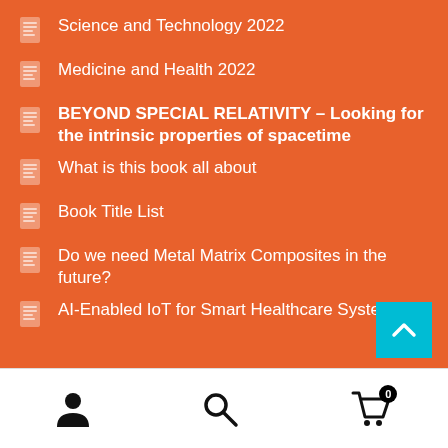Science and Technology 2022
Medicine and Health 2022
BEYOND SPECIAL RELATIVITY – Looking for the intrinsic properties of spacetime
What is this book all about
Book Title List
Do we need Metal Matrix Composites in the future?
AI-Enabled IoT for Smart Healthcare Systems
[Figure (infographic): Teal back-to-top button with upward chevron arrow]
Navigation footer with user icon, search icon, and cart icon with badge 0